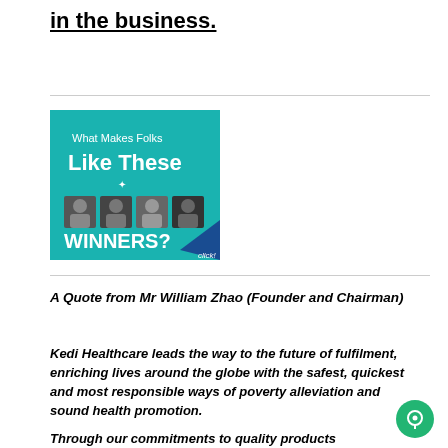in the business.
[Figure (illustration): Book cover or banner image with teal background showing text 'What Makes Folks Like These WINNERS?' with four small black and white portrait photos and 'click!' text in bottom right corner.]
A Quote from Mr William Zhao (Founder and Chairman)
Kedi Healthcare leads the way to the future of fulfilment, enriching lives around the globe with the safest, quickest and most responsible ways of poverty alleviation and sound health promotion.
Through our commitments to quality products